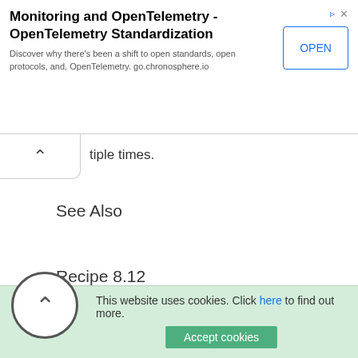[Figure (screenshot): Advertisement banner for OpenTelemetry Standardization with OPEN button]
tiple times.
See Also
Recipe 8.12
This website uses cookies. Click here to find out more. Accept cookies